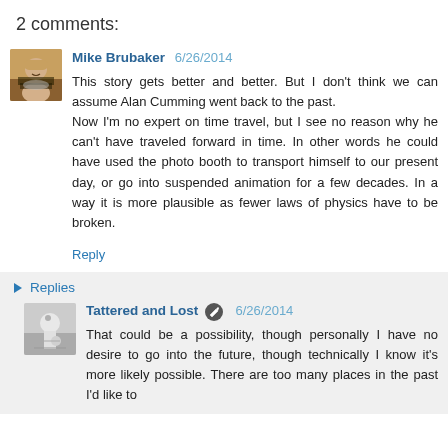2 comments:
Mike Brubaker 6/26/2014
This story gets better and better. But I don't think we can assume Alan Cumming went back to the past.
Now I'm no expert on time travel, but I see no reason why he can't have traveled forward in time. In other words he could have used the photo booth to transport himself to our present day, or go into suspended animation for a few decades. In a way it is more plausible as fewer laws of physics have to be broken.
Reply
Replies
Tattered and Lost 6/26/2014
That could be a possibility, though personally I have no desire to go into the future, though technically I know it's more likely possible. There are too many places in the past I'd like to